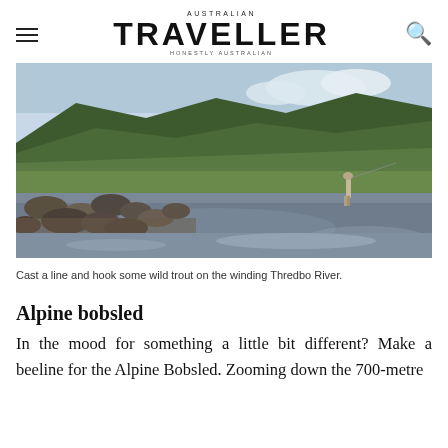AUSTRALIAN TRAVELLER — HONESTLY AUSTRALIAN
[Figure (photo): A fly fisherman stands in a shallow, rocky river with green hills and mountains in the background. The clear water reflects the sky and surrounding landscape. Rocky banks line the near shore.]
Cast a line and hook some wild trout on the winding Thredbo River.
Alpine bobsled
In the mood for something a little bit different? Make a beeline for the Alpine Bobsled. Zooming down the 700-metre